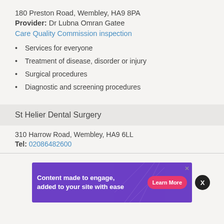180 Preston Road, Wembley, HA9 8PA
Provider: Dr Lubna Omran Gatee
Care Quality Commission inspection
Services for everyone
Treatment of disease, disorder or injury
Surgical procedures
Diagnostic and screening procedures
St Helier Dental Surgery
310 Harrow Road, Wembley, HA9 6LL
Tel: 02086482600
[Figure (infographic): Advertisement banner with purple background. Text: 'Content made to engage, added to your site with ease' with a pink 'Learn More' button and geometric line design.]